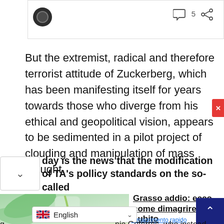[Figure (screenshot): Top bar with avatar icon, comment bubble icon with number 5, and share icon]
But the extremist, radical and therefore terrorist attitude of Zuckerberg, which has been manifesting itself for years towards those who diverge from his ethical and geopolitical vision, appears to be sedimented in a pilot project of clouding and manipulation of mass thought.
day is the news that the modification of TA's pollicy standards on the so-called
[Figure (photo): Photo of green juice or liquid being poured into a glass jar with plant leaves in background]
Grasso addio: ecco come dimagrire subito
Dimagrimento rapido
English
nio Guterres, who instead